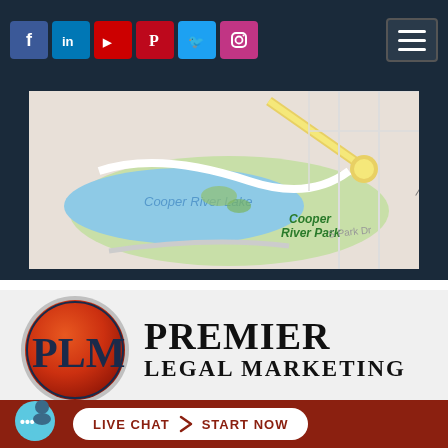[Figure (screenshot): Navigation bar with social media icons (Facebook, LinkedIn, YouTube, Pinterest, Twitter, Instagram) on dark navy background, and hamburger menu icon on the right]
[Figure (map): Google Maps view showing Cooper River Lake and Cooper River Park area with N Park Dr and S Park Dr roads visible]
[Figure (logo): Premier Legal Marketing logo with circular PLM badge in orange/red gradient and company name text in serif font]
[Figure (infographic): Live chat call-to-action bar on dark red background with chat bubble icon and white pill-shaped button reading LIVE CHAT > START NOW]